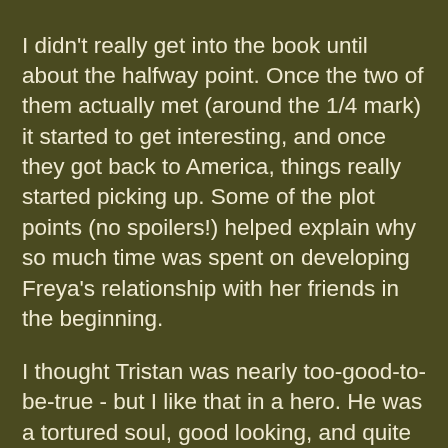I didn't really get into the book until about the halfway point. Once the two of them actually met (around the 1/4 mark) it started to get interesting, and once they got back to America, things really started picking up. Some of the plot points (no spoilers!) helped explain why so much time was spent on developing Freya's relationship with her friends in the beginning.
I thought Tristan was nearly too-good-to-be-true - but I like that in a hero. He was a tortured soul, good looking, and quite sensitive. Much better than an alpha-asshole. I wondered why he couldn't have just talked about why he'd gone into hiding sooner, once he and Freya hit it off, and then when we got to the little twist at the end, I understood a little better. (A twist I didn't see coming at all, btw - and that's not easy to do!)
I liked Freya, mostly. She's sarcastic, just feisty enough, and not a complete drama queen. She was